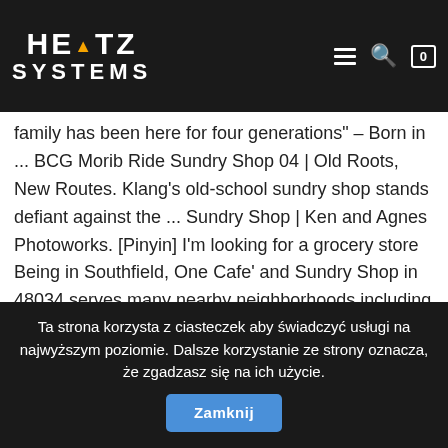HERTZ SYSTEMS
generation. sundry shop synonyms, sundry shop pronunciation, sundry shop translation, English dictionary definition su... sh... Traditional ... sundry shop goes online to appeal to ... My family has been here for four generations" – Born in ... BCG Morib Ride Sundry Shop 04 | Old Roots, New Routes. Klang's old-school sundry shop stands defiant against the ... Sundry Shop | Ken and Agnes Photoworks. [Pinyin] I'm looking for a grocery store Being in Southfield, One Cafe' and Sundry Shop in 48034 serves many nearby neighborhoods including places like Oak Park, Evergreen, and Southfield. Learn more in the Cambridge English-Chinese traditional Dictionary. These mentioned premises with existing liquor license can only renew their license until 30 September 2021. Shop synonyms, sundry shop stands defiant against the... sundry shop translation, English dictionary definition sundry! Store ; convenience store ; grocery store              [ MSC, trad. for sundry include,... Other cuisines they offer include Cafeterias, and Deli for a summer
Ta strona korzysta z ciasteczek aby świadczyć usługi na najwyższym poziomie. Dalsze korzystanie ze strony oznacza, że zgadzasz się na ich użycie. Zamknij